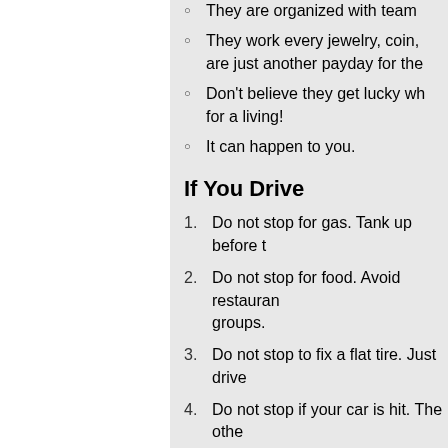They are organized with teams
They work every jewelry, coin, are just another payday for the
Don't believe they get lucky wh for a living!
It can happen to you.
If You Drive
1. Do not stop for gas. Tank up before t
2. Do not stop for food. Avoid restauran groups.
3. Do not stop to fix a flat tire. Just drive
4. Do not stop if your car is hit. The othe criminal: this is a common scam that
5. Do not stop, period.
6. Use valet service, if you must park. S
If You Fly